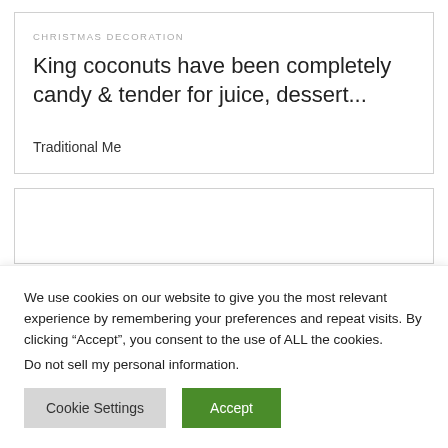CHRISTMAS DECORATION
King coconuts have been completely candy & tender for juice, dessert...
Traditional Me
We use cookies on our website to give you the most relevant experience by remembering your preferences and repeat visits. By clicking “Accept”, you consent to the use of ALL the cookies.
Do not sell my personal information.